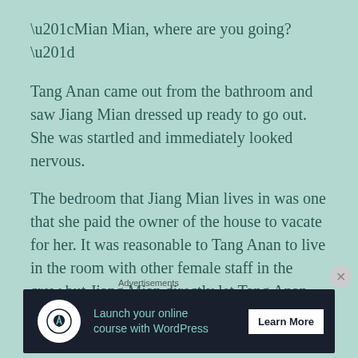“Mian Mian, where are you going?”
Tang Anan came out from the bathroom and saw Jiang Mian dressed up ready to go out. She was startled and immediately looked nervous.
The bedroom that Jiang Mian lives in was one that she paid the owner of the house to vacate for her. It was reasonable to Tang Anan to live in the room with other female staff in the crew but Jiang Mian directly let Tang Anan lives with her. Since the room was big enough she let the owner add
Advertisements
[Figure (infographic): Advertisement banner: Launch your online course with WordPress. Learn More button. Dark background with teal text and circular logo icon.]